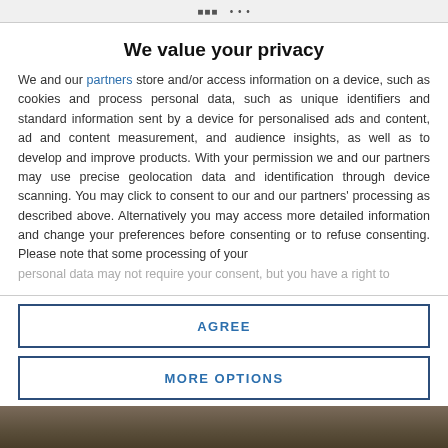We value your privacy
We and our partners store and/or access information on a device, such as cookies and process personal data, such as unique identifiers and standard information sent by a device for personalised ads and content, ad and content measurement, and audience insights, as well as to develop and improve products. With your permission we and our partners may use precise geolocation data and identification through device scanning. You may click to consent to our and our partners' processing as described above. Alternatively you may access more detailed information and change your preferences before consenting or to refuse consenting. Please note that some processing of your personal data may not require your consent, but you have a right to
AGREE
MORE OPTIONS
[Figure (photo): Bottom strip showing a partial photograph]